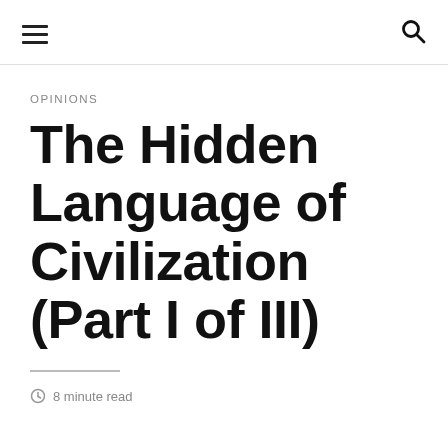≡ 🔍
OPINIONS
The Hidden Language of Civilization (Part I of III)
8 minute read